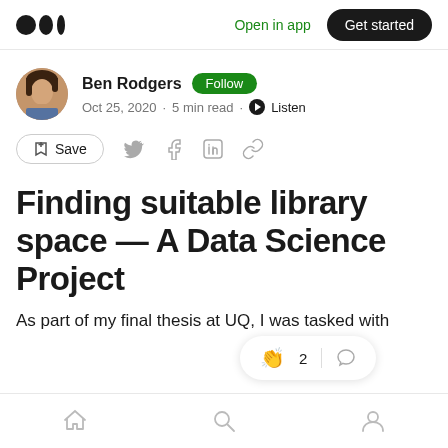Medium — Open in app · Get started
Ben Rodgers · Follow · Oct 25, 2020 · 5 min read · Listen
Save
Finding suitable library space — A Data Science Project
As part of my final thesis at UQ, I was tasked with
Home · Search · Profile